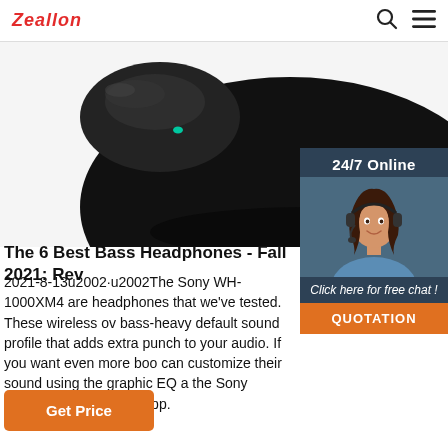Zeallon
[Figure (photo): Close-up photo of a black wireless earbud/headphone against white background, showing glossy black plastic casing with a small teal LED indicator]
[Figure (photo): 24/7 Online widget showing a female customer service agent wearing a headset and smiling, with a blue/grey background and an orange QUOTATION button]
The 6 Best Bass Headphones - Fall 2021: Rev
2021-8-13u2002·u2002The Sony WH-1000XM4 are headphones that we've tested. These wireless ov bass-heavy default sound profile that adds extra punch to your audio. If you want even more boo can customize their sound using the graphic EQ a the Sony Headphones Connect app.
Get Price